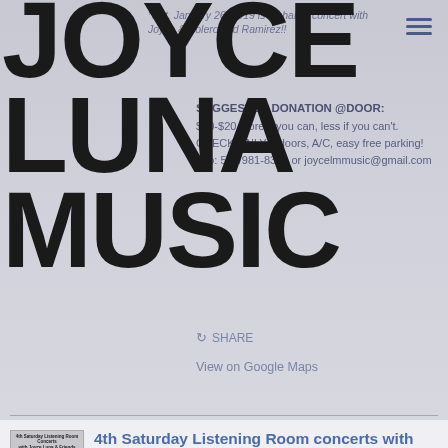JOYCE LUNA MUSIC
*Sat. January 26, 2019 is a shared concert with Joyce & Bolero Ted Ramirez!!
SUGGESTED DONATION @DOOR: $10-$20 more if you can, less if you can't. CHECK ONLY Indoors, A/C, easy free parking! Info: 520/981-8311 or joycelmmusic@gmail.com
SHARE
View on Google Maps
4th Saturday Listening Room concerts with Joyce Luna and Friends
Sat. May 25, 2019 @ 7:00PM —